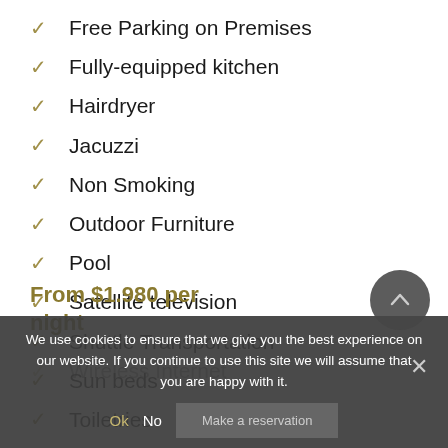Free Parking on Premises
Fully-equipped kitchen
Hairdryer
Jacuzzi
Non Smoking
Outdoor Furniture
Pool
Satellite television
Shuttle Transportation
Sun beds
Toiletries
Wireless Internet
From $1,980 per night
We use cookies to ensure that we give you the best experience on our website. If you continue to use this site we will assume that you are happy with it.
Ok  No  Make a reservation